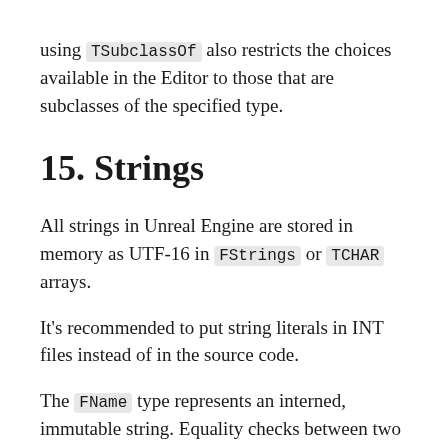using TSubclassOf also restricts the choices available in the Editor to those that are subclasses of the specified type.
15. Strings
All strings in Unreal Engine are stored in memory as UTF-16 in FStrings or TCHAR arrays.
It's recommended to put string literals in INT files instead of in the source code.
The FName type represents an interned, immutable string. Equality checks between two FNames simply compares their index into